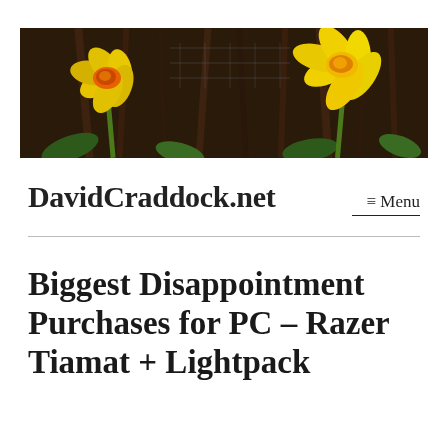[Figure (photo): Banner photo showing two yellow daffodil flowers against a dark background of woody branches and green leaves]
DavidCraddock.net
≡ Menu
Biggest Disappointment Purchases for PC – Razer Tiamat + Lightpack